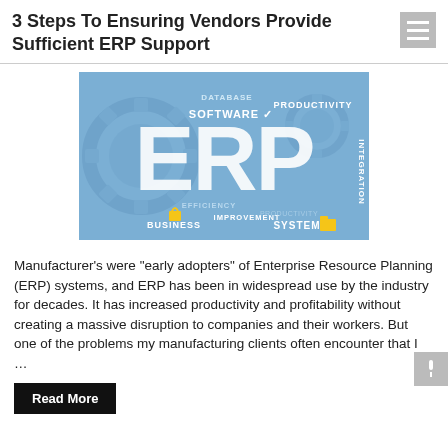3 Steps To Ensuring Vendors Provide Sufficient ERP Support
[Figure (infographic): ERP word cloud infographic on blue background with large ERP text, gears, and keywords: DATABASE, SOFTWARE, PRODUCTIVITY, INTEGRATION, EFFICIENCY, IMPROVEMENT, BUSINESS, SYSTEM, PRODUCTIVITY]
Manufacturer’s were “early adopters” of Enterprise Resource Planning (ERP) systems, and ERP has been in widespread use by the industry for decades. It has increased productivity and profitability without creating a massive disruption to companies and their workers. But one of the problems my manufacturing clients often encounter that I …